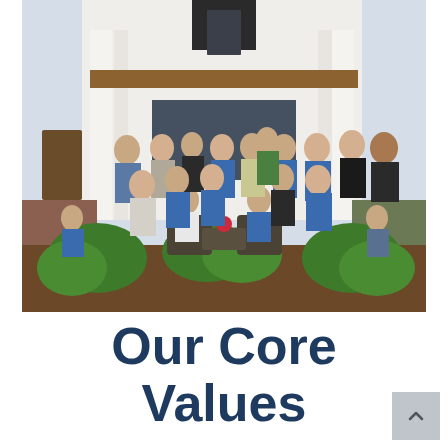[Figure (photo): Group photo of approximately 20 people posed in front of a modern white farmhouse with black-framed windows and wooden beam accents. Several people wear blue polo shirts. Four people are seated on wicker outdoor furniture in the foreground, with green shrubs around them.]
Our Core Values